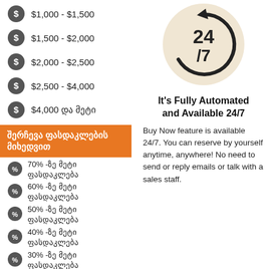$1,000 - $1,500
$1,500 - $2,000
$2,000 - $2,500
$2,500 - $4,000
$4,000 და მეტი
[Figure (infographic): 24/7 clock arrow circular icon on beige background]
შერჩევა ფასდაკლების მიხედვით
70% -ზე მეტი ფასდაკლება
60% -ზე მეტი ფასდაკლება
50% -ზე მეტი ფასდაკლება
40% -ზე მეტი ფასდაკლება
30% -ზე მეტი ფასდაკლება
1%-30%-მდე ფასდაკლება
It's Fully Automated and Available 24/7
Buy Now feature is available 24/7. You can reserve by yourself anytime, anywhere! No need to send or reply emails or talk with a sales staff.